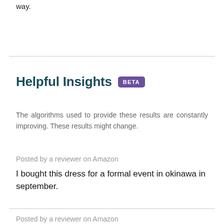way.
Helpful Insights BETA
The algorithms used to provide these results are constantly improving. These results might change.
Posted by a reviewer on Amazon
I bought this dress for a formal event in okinawa in september.
Posted by a reviewer on Amazon